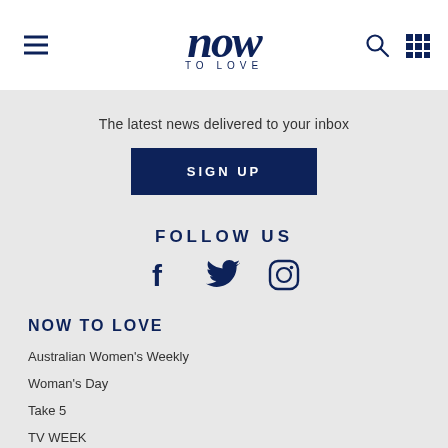[Figure (logo): Now To Love logo in dark navy with italic 'now' and 'TO LOVE' below]
The latest news delivered to your inbox
SIGN UP
FOLLOW US
[Figure (illustration): Facebook, Twitter, Instagram social media icons in dark navy]
NOW TO LOVE
Australian Women's Weekly
Woman's Day
Take 5
TV WEEK